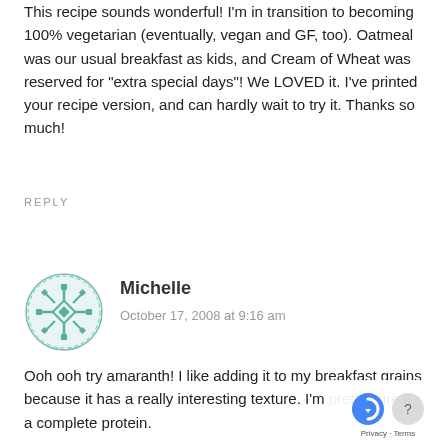This recipe sounds wonderful! I'm in transition to becoming 100% vegetarian (eventually, vegan and GF, too). Oatmeal was our usual breakfast as kids, and Cream of Wheat was reserved for "extra special days"! We LOVED it. I've printed your recipe version, and can hardly wait to try it. Thanks so much!
REPLY
[Figure (illustration): Teal/green decorative avatar icon with geometric snowflake-like pattern]
Michelle
October 17, 2008 at 9:16 am
Ooh ooh try amaranth! I like adding it to my breakfast grains because it has a really interesting texture. I'm pretty sure it's a complete protein.